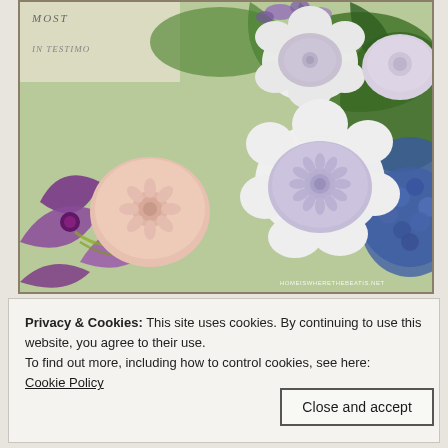[Figure (photo): Decorative photo showing ornate molded soaps (pink flower-shaped and pale lavender daisy-shaped) resting on white ceramic flower-shaped dishes, arranged on a colorful botanical illustration background featuring purple clematis, blue hydrangea, and green foliage. A watermark reads HOMEISWHERETHEBEATIS.NET. Partial text 'MOST' and 'IN TESTIMO' visible at top left from underlying paper.]
Privacy & Cookies: This site uses cookies. By continuing to use this website, you agree to their use.
To find out more, including how to control cookies, see here:
Cookie Policy